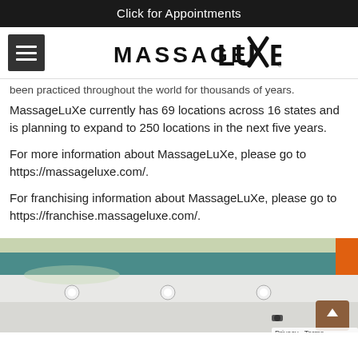Click for Appointments
[Figure (logo): MassageLuXe logo with hamburger menu icon]
been practiced throughout the world for thousands of years. MassageLuXe currently has 69 locations across 16 states and is planning to expand to 250 locations in the next five years.
For more information about MassageLuXe, please go to https://massageluxe.com/.
For franchising information about MassageLuXe, please go to https://franchise.massageluxe.com/.
[Figure (photo): Interior photo of a MassageLuXe spa location showing teal ceiling accents, recessed lighting, white walls, and an orange accent wall element]